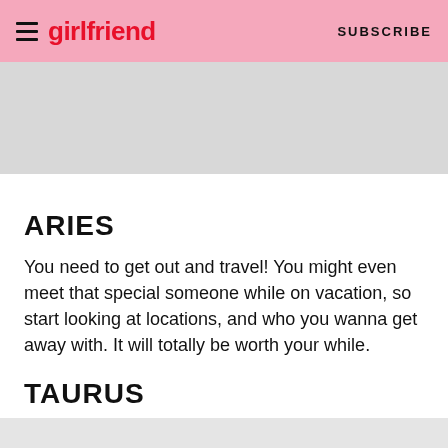girlfriend | SUBSCRIBE
ARIES
You need to get out and travel! You might even meet that special someone while on vacation, so start looking at locations, and who you wanna get away with. It will totally be worth your while.
TAURUS
Go easy this week, because Mercury and Neptune will